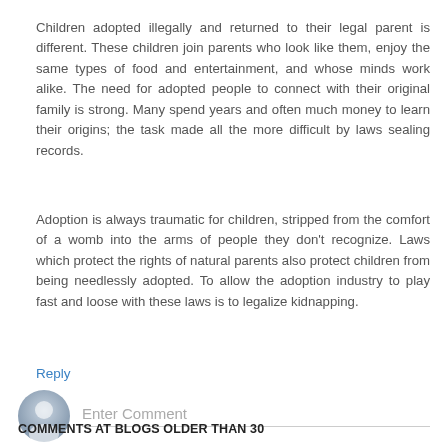Children adopted illegally and returned to their legal parent is different. These children join parents who look like them, enjoy the same types of food and entertainment, and whose minds work alike. The need for adopted people to connect with their original family is strong. Many spend years and often much money to learn their origins; the task made all the more difficult by laws sealing records.
Adoption is always traumatic for children, stripped from the comfort of a womb into the arms of people they don't recognize. Laws which protect the rights of natural parents also protect children from being needlessly adopted. To allow the adoption industry to play fast and loose with these laws is to legalize kidnapping.
Reply
[Figure (illustration): Generic user avatar icon — grey silhouette of a person in a circle]
Enter Comment
COMMENTS AT BLOGS OLDER THAN 30